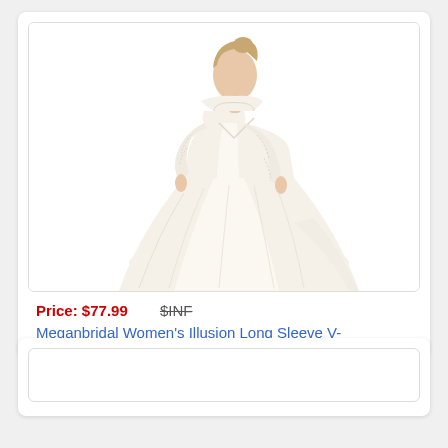[Figure (photo): A woman wearing a white/ivory illusion long sleeve V-neck wedding ball gown with lace details on the sleeves and bodice, full tulle skirt with train.]
Price: $77.99   $INF
Meganbridal Women's Illusion Long Sleeve V-